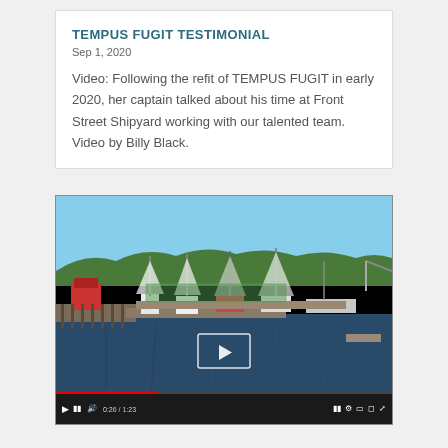TEMPUS FUGIT TESTIMONIAL
Sep 1, 2020
Video: Following the refit of TEMPUS FUGIT in early 2020, her captain talked about his time at Front Street Shipyard working with our talented team. Video by Billy Black.
[Figure (screenshot): Embedded video player showing an aerial view of a marina/shipyard with sailboats on calm water, green hillside in background, red building on dock. Video controls bar at bottom with play button, progress bar, time display 0:26/1:23, and settings icons. A play button overlay is visible in the center of the video.]